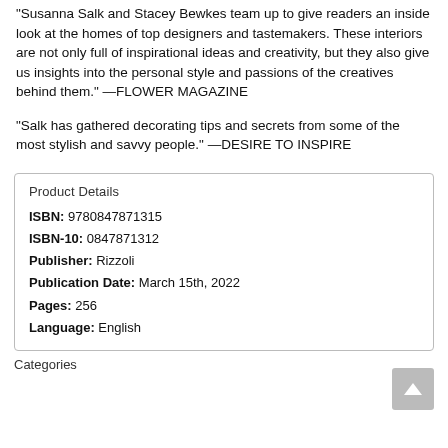"Susanna Salk and Stacey Bewkes team up to give readers an inside look at the homes of top designers and tastemakers. These interiors are not only full of inspirational ideas and creativity, but they also give us insights into the personal style and passions of the creatives behind them." —FLOWER MAGAZINE
"Salk has gathered decorating tips and secrets from some of the most stylish and savvy people." —DESIRE TO INSPIRE
| Field | Value |
| --- | --- |
| ISBN: | 9780847871315 |
| ISBN-10: | 0847871312 |
| Publisher: | Rizzoli |
| Publication Date: | March 15th, 2022 |
| Pages: | 256 |
| Language: | English |
Categories